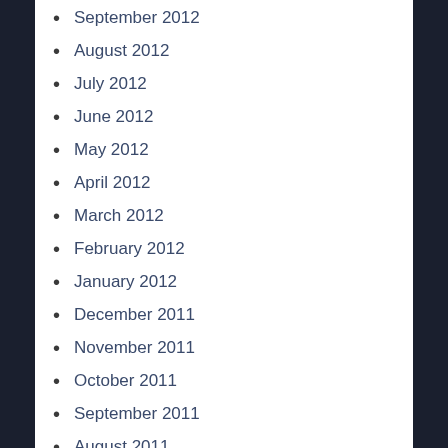September 2012
August 2012
July 2012
June 2012
May 2012
April 2012
March 2012
February 2012
January 2012
December 2011
November 2011
October 2011
September 2011
August 2011
July 2011
June 2011
May 2011
April 2011
March 2011
February 2011
January 2011
December 2010
November 2010